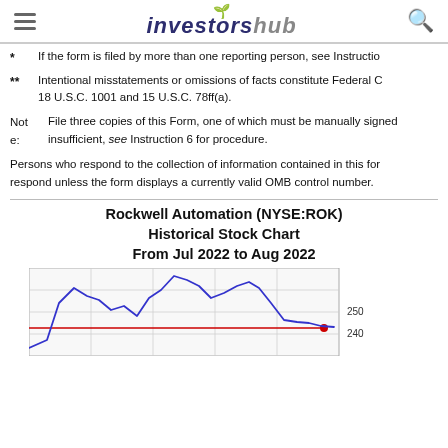investorshub
* If the form is filed by more than one reporting person, see Instruction
** Intentional misstatements or omissions of facts constitute Federal Cr 18 U.S.C. 1001 and 15 U.S.C. 78ff(a).
Note: File three copies of this Form, one of which must be manually signed insufficient, see Instruction 6 for procedure.
Persons who respond to the collection of information contained in this form respond unless the form displays a currently valid OMB control number.
Rockwell Automation (NYSE:ROK)
Historical Stock Chart
From Jul 2022 to Aug 2022
[Figure (continuous-plot): Historical stock price line chart for Rockwell Automation (NYSE:ROK) from Jul 2022 to Aug 2022. Blue line shows stock price fluctuating, peaking around 270, with a red horizontal reference line near 242. Y-axis labels show 250 and 240.]